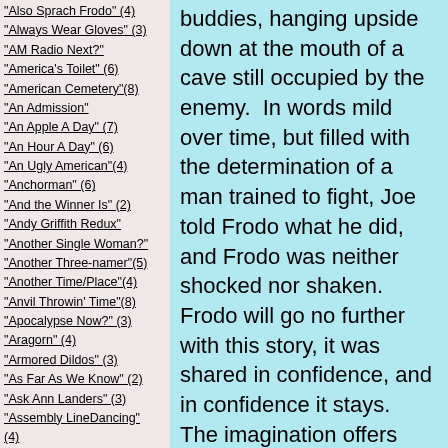"Also Sprach Frodo" (4)
"Always Wear Gloves" (3)
"AM Radio Next?"
"America's Toilet" (6)
"American Cemetery"(8)
"An Admission"
"An Apple A Day" (7)
"An Hour A Day" (6)
"An Ugly American"(4)
"Anchorman" (6)
"And the Winner Is" (2)
"Andy Griffith Redux"
"Another Single Woman?"
"Another Three-namer"(5)
"Another Time/Place"(4)
"Anvil Throwin' Time"(8)
"Apocalypse Now?" (3)
"Aragorn" (4)
"Armored Dildos" (3)
"As Far As We Know" (2)
"Ask Ann Landers" (3)
"Assembly LineDancing" (4)
"Astronaughty" (2)
"Atlanta Times Three"
"Augmentation" (2)
"Augustus Agonistes" (5)
"Aurora Borealis" (8)
buddies, hanging upside down at the mouth of a cave still occupied by the enemy.  In words mild over time, but filled with the determination of a man trained to fight, Joe told Frodo what he did, and Frodo was neither shocked nor shaken.  Frodo will go no further with this story, it was shared in confidence, and in confidence it stays.  The imagination offers sufficient clarity.
All of this comes to Frodo's mind this eve because an island nation, not far from Pelelieu, announced that it was accepting the 17 Chinese Uighurs (pron. wee-gurs) seen